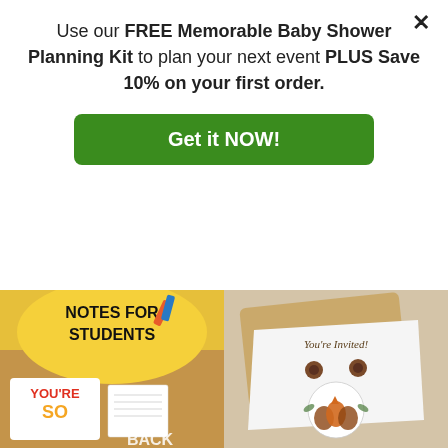Use our FREE Memorable Baby Shower Planning Kit to plan your next event PLUS Save 10% on your first order.
Get it NOW!
WEEK GIFTS RECEIVED
$13.99
WEEK GIFTS RECEIVED
$13.99
[Figure (photo): Notes for Students / You're So Back – colorful educational notes product image on yellow background]
[Figure (photo): You're Invited – woodland animal party invitation in envelope with button closure]